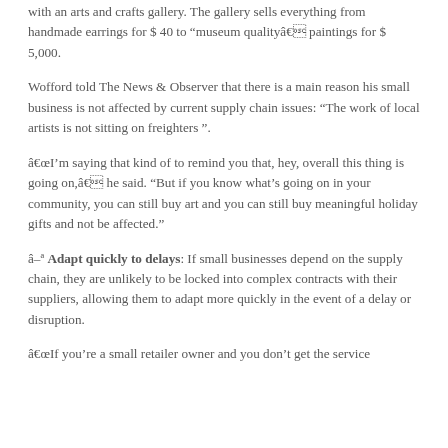with an arts and crafts gallery. The gallery sells everything from handmade earrings for $ 40 to “museum qualityâ€ paintings for $ 5,000.
Wofford told The News & Observer that there is a main reason his small business is not affected by current supply chain issues: “The work of local artists is not sitting on freighters ”.
“I’m saying that kind of to remind you that, hey, overall this thing is going on,â€ he said. “But if you know what’s going on in your community, you can still buy art and you can still buy meaningful holiday gifts and not be affected.”
â–ª Adapt quickly to delays: If small businesses depend on the supply chain, they are unlikely to be locked into complex contracts with their suppliers, allowing them to adapt more quickly in the event of a delay or disruption.
“If you’re a small retailer owner and you don’t get the service